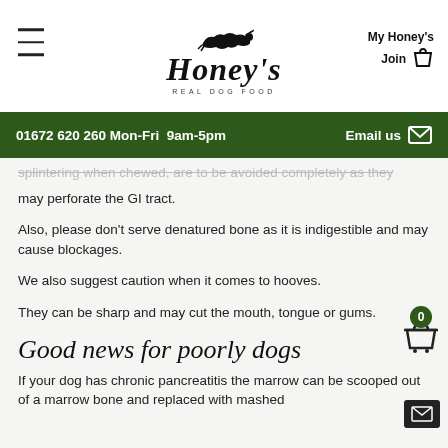[Figure (logo): Honey's Real Dog Food logo with running dog silhouette and script text]
01672 620 260 Mon-Fri  9am-5pm   Email us
splintering when chewed, are to be avoided completely as they may perforate the GI tract.
Also, please don't serve denatured bone as it is indigestible and may cause blockages.
We also suggest caution when it comes to hooves.
They can be sharp and may cut the mouth, tongue or gums.
Good news for poorly dogs
If your dog has chronic pancreatitis the marrow can be scooped out of a marrow bone and replaced with mashed